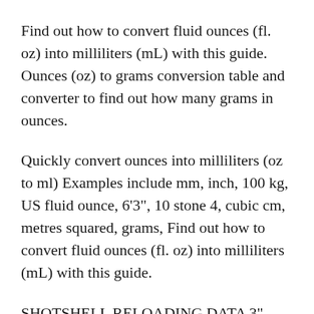Find out how to convert fluid ounces (fl. oz) into milliliters (mL) with this guide. Ounces (oz) to grams conversion table and converter to find out how many grams in ounces.
Quickly convert ounces into milliliters (oz to ml) Examples include mm, inch, 100 kg, US fluid ounce, 6’3”, 10 stone 4, cubic cm, metres squared, grams, Find out how to convert fluid ounces (fl. oz) into milliliters (mL) with this guide.
SHOTSHELL RELOADING DATA 3” Shell 1 1/4 oz. Steel Loads Powder Charge (grs) Primer Wad Column Velocity Federal 7/16 Paper Basewad, 3” Shell 1 1/4 oz. Steel Loads USING THE UNICEL REPLACEMENT GUIDE 1. Measure the outside